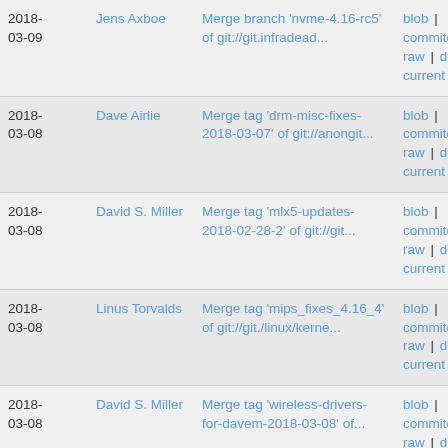| Date | Author | Message | Actions |
| --- | --- | --- | --- |
| 2018-03-09 | Jens Axboe | Merge branch 'nvme-4.16-rc5' of git://git.infradead... | blob | commitdiff | raw | diff to current |
| 2018-03-08 | Dave Airlie | Merge tag 'drm-misc-fixes-2018-03-07' of git://anongit... | blob | commitdiff | raw | diff to current |
| 2018-03-08 | David S. Miller | Merge tag 'mlx5-updates-2018-02-28-2' of git://git... | blob | commitdiff | raw | diff to current |
| 2018-03-08 | Linus Torvalds | Merge tag 'mips_fixes_4.16_4' of git://git./linux/kerne... | blob | commitdiff | raw | diff to current |
| 2018-03-08 | David S. Miller | Merge tag 'wireless-drivers-for-davem-2018-03-08' of... | blob | commitdiff | raw | diff to current |
| 2018- | Jens | Merge branch 'stable/for-jens-4.15' | blob | |